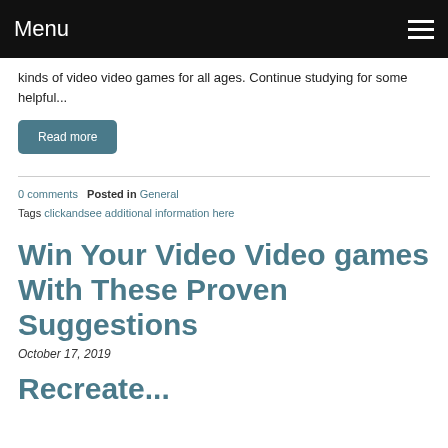Menu
kinds of video video games for all ages. Continue studying for some helpful...
Read more
0 comments   Posted in General
  Tags clickandsee additional information here
Win Your Video Video games With These Proven Suggestions
October 17, 2019
Recreate ...